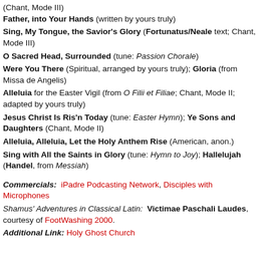(Chant, Mode III) Father, into Your Hands (written by yours truly)
Sing, My Tongue, the Savior's Glory (Fortunatus/Neale text; Chant, Mode III)
O Sacred Head, Surrounded (tune: Passion Chorale)
Were You There (Spiritual, arranged by yours truly); Gloria (from Missa de Angelis)
Alleluia for the Easter Vigil (from O Filii et Filiae; Chant, Mode II; adapted by yours truly)
Jesus Christ Is Ris'n Today (tune: Easter Hymn); Ye Sons and Daughters (Chant, Mode II)
Alleluia, Alleluia, Let the Holy Anthem Rise (American, anon.)
Sing with All the Saints in Glory (tune: Hymn to Joy); Hallelujah (Handel, from Messiah)
Commercials: iPadre Podcasting Network, Disciples with Microphones
Shamus' Adventures in Classical Latin: Victimae Paschali Laudes, courtesy of FootWashing 2000.
Additional Link: Holy Ghost Church